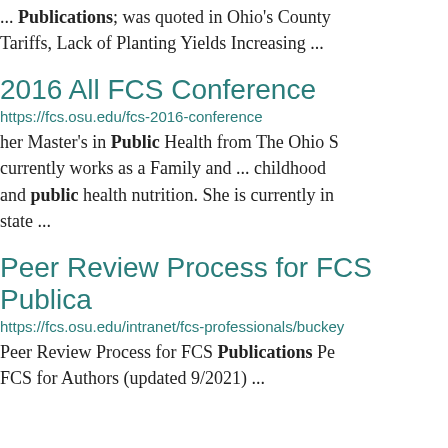... Publications; was quoted in Ohio's County Tariffs, Lack of Planting Yields Increasing ...
2016 All FCS Conference
https://fcs.osu.edu/fcs-2016-conference
her Master's in Public Health from The Ohio S currently works as a Family and ... childhood and public health nutrition. She is currently in state ...
Peer Review Process for FCS Publica
https://fcs.osu.edu/intranet/fcs-professionals/buckey
Peer Review Process for FCS Publications Pe FCS for Authors (updated 9/2021) ...